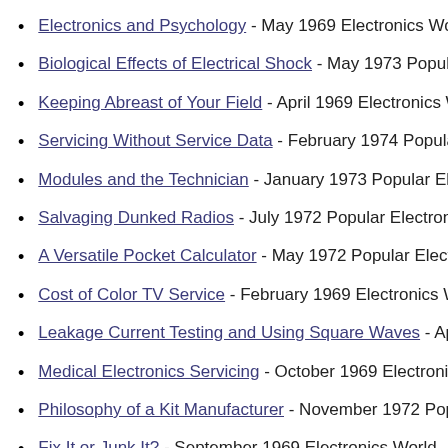Electronics and Psychology - May 1969 Electronics World
Biological Effects of Electrical Shock - May 1973 Popular
Keeping Abreast of Your Field - April 1969 Electronics We
Servicing Without Service Data - February 1974 Popular E
Modules and the Technician - January 1973 Popular Electr
Salvaging Dunked Radios - July 1972 Popular Electronics
A Versatile Pocket Calculator - May 1972 Popular Electro
Cost of Color TV Service - February 1969 Electronics Wo
Leakage Current Testing and Using Square Waves - April 1
Medical Electronics Servicing - October 1969 Electronics
Philosophy of a Kit Manufacturer - November 1972 Popul
Fix It or Junk It? - September 1969 Electronics World